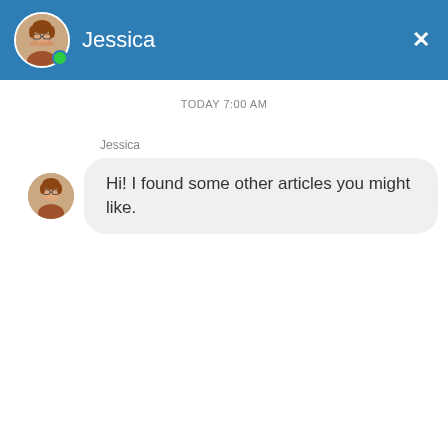[Figure (screenshot): Chat interface header with avatar photo of Jessica (woman with glasses), green online indicator dot, name 'Jessica' in white text, and a white X close button on a blue background bar]
TODAY 7:00 AM
Jessica
[Figure (photo): Small circular avatar of Jessica - woman with glasses]
Hi! I found some other articles you might like.